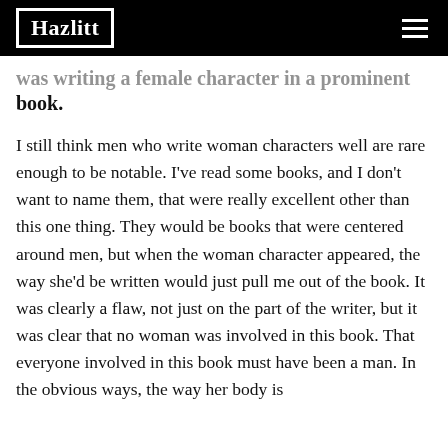Hazlitt
was writing a female character in a prominent book.
I still think men who write woman characters well are rare enough to be notable. I've read some books, and I don't want to name them, that were really excellent other than this one thing. They would be books that were centered around men, but when the woman character appeared, the way she'd be written would just pull me out of the book. It was clearly a flaw, not just on the part of the writer, but it was clear that no woman was involved in this book. That everyone involved in this book must have been a man. In the obvious ways, the way her body is